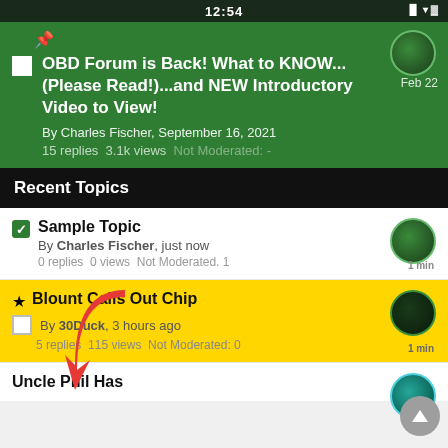12:54
OBD Forum is Back! What to KNOW...(Please Read!)...and NEW Introductory Video to View!
By Charles Fischer, September 16, 2021
15 replies   3.1k views   Not Moderated: -
Recent Topics
Sample Topic
By Charles Fischer, just now
0 replies   0 views   Not Moderated. 1
★ Blount Calls Out Chip
By 30Duck, 3 hours ago
5 replies   115 views   Not Moderated: 0
Uncle Phil Has